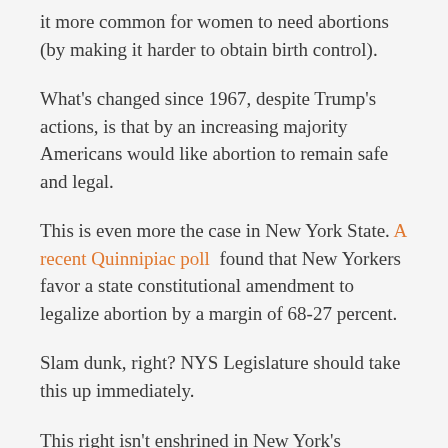it more common for women to need abortions (by making it harder to obtain birth control).
What's changed since 1967, despite Trump's actions, is that by an increasing majority Americans would like abortion to remain safe and legal.
This is even more the case in New York State. A recent Quinnipiac poll found that New Yorkers favor a state constitutional amendment to legalize abortion by a margin of 68-27 percent.
Slam dunk, right? NYS Legislature should take this up immediately.
This right isn't enshrined in New York's constitution, because there has been no move to amend the sprawling document to this end. The amendment